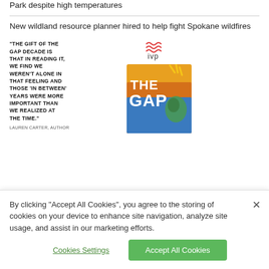We just a good time! Locals enjoy first day of Fig Out in the Park despite high temperatures
New wildland resource planner hired to help fight Spokane wildfires
[Figure (illustration): Advertisement for a book called 'The Gap Decade' by IVP publishers. Shows a pull quote in uppercase bold text: 'THE GIFT OF THE GAP DECADE IS THAT IN READING IT, WE FIND WE WEREN'T ALONE IN THAT FEELING AND THOSE 'IN BETWEEN' YEARS WERE MORE IMPORTANT THAN WE REALIZED AT THE TIME.' with attribution 'LAUREN CARTER, AUTHOR' and the IVP logo with red wave lines, alongside a colorful book cover image.]
By clicking “Accept All Cookies”, you agree to the storing of cookies on your device to enhance site navigation, analyze site usage, and assist in our marketing efforts.
Cookies Settings
Accept All Cookies